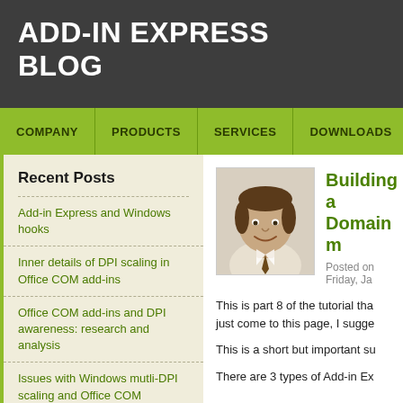ADD-IN EXPRESS BLOG
COMPANY   PRODUCTS   SERVICES   DOWNLOADS   S
Recent Posts
Add-in Express and Windows hooks
Inner details of DPI scaling in Office COM add-ins
Office COM add-ins and DPI awareness: research and analysis
Issues with Windows mutli-DPI scaling and Office COM
[Figure (photo): Headshot photo of a smiling middle-aged man in a shirt and tie]
Building a Domain m
Posted on Friday, Ja
This is part 8 of the tutorial tha just come to this page, I sugge
This is a short but important su
There are 3 types of Add-in Ex